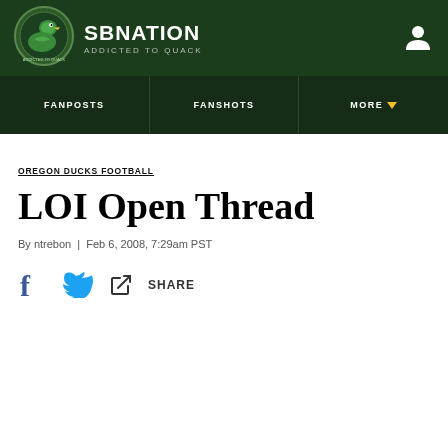SBNATION / ADDICTED TO QUACK
[Figure (logo): SB Nation Addicted to Quack logo - circular logo with duck illustration]
FANPOSTS | FANSHOTS | MORE
OREGON DUCKS FOOTBALL
LOI Open Thread
By ntrebon | Feb 6, 2008, 7:29am PST
SHARE